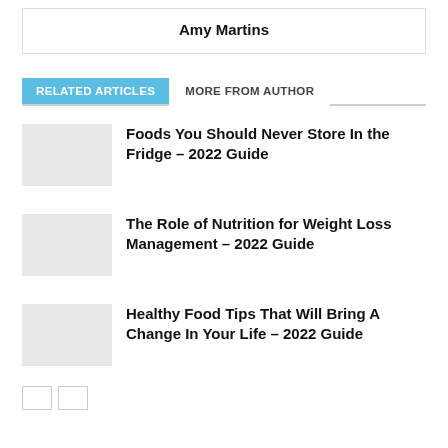Amy Martins
RELATED ARTICLES   MORE FROM AUTHOR
Foods You Should Never Store In the Fridge – 2022 Guide
The Role of Nutrition for Weight Loss Management – 2022 Guide
Healthy Food Tips That Will Bring A Change In Your Life – 2022 Guide